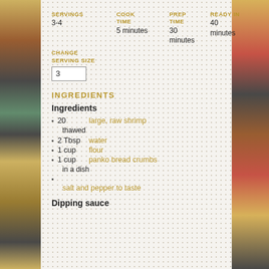SERVINGS 3-4
COOK TIME 5 minutes
PREP TIME 30 minutes
READY IN 40 minutes
CHANGE SERVING SIZE
3
INGREDIENTS
Ingredients
20 large, raw shrimp thawed
2 Tbsp water
1 cup flour
1 cup panko bread crumbs in a dish
salt and pepper to taste
Dipping sauce